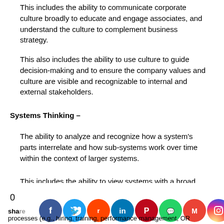This includes the ability to communicate corporate culture broadly to educate and engage associates, and understand the culture to complement business strategy.
This also includes the ability to use culture to guide decision-making and to ensure the company values and culture are visible and recognizable to internal and external stakeholders.
Systems Thinking –
The ability to analyze and recognize how a system's parts interrelate and how sub-systems work over time within the context of larger systems.
This includes the ability to view systems with a broad perspective and identify overall structures, patterns, and cycles.
Qualifications
0 8 ... share ... processes (e.g., hiring, training, performance management, OR